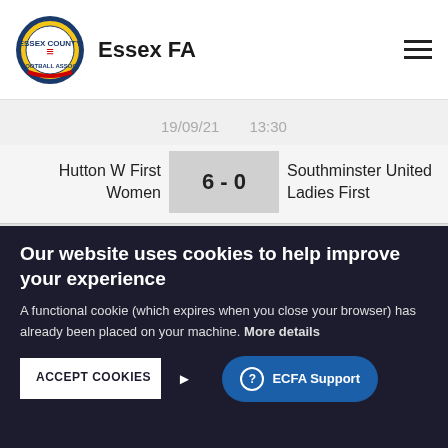Essex FA
19/09/21   13:30
| Home Team | Score | Away Team |
| --- | --- | --- |
| Hutton W First Women | 6 - 0 | Southminster United Ladies First |
Home Win
11
Our website uses cookies to help improve your experience
A functional cookie (which expires when you close your browser) has already been placed on your machine. More details
ACCEPT COOKIES
ECFA Support